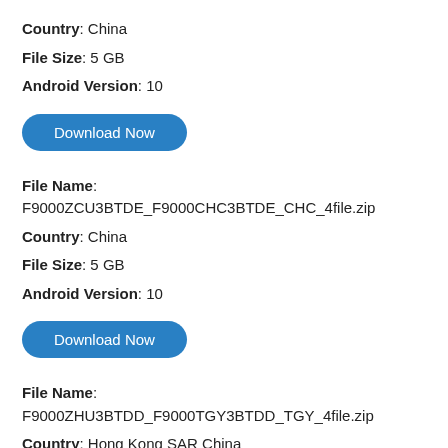Country: China
File Size: 5 GB
Android Version: 10
Download Now
File Name: F9000ZCU3BTDE_F9000CHC3BTDE_CHC_4file.zip
Country: China
File Size: 5 GB
Android Version: 10
Download Now
File Name: F9000ZHU3BTDD_F9000TGY3BTDD_TGY_4file.zip
Country: Hong Kong SAR China
File Size: 5 GB
Android Version: 10